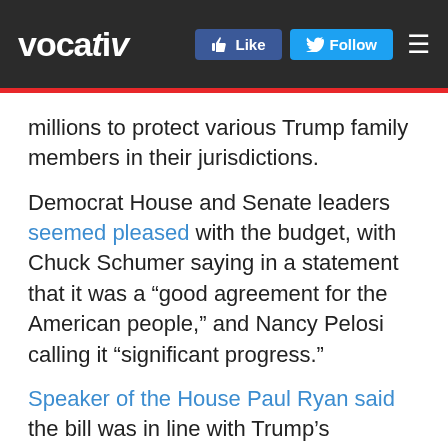vocativ
millions to protect various Trump family members in their jurisdictions.
Democrat House and Senate leaders seemed pleased with the budget, with Chuck Schumer saying in a statement that it was a “good agreement for the American people,” and Nancy Pelosi calling it “significant progress.”
Speaker of the House Paul Ryan said the bill was in line with Trump’s demands, in that it would “rebuild our military and bolster our nation’s border security.”
But Fox News said the deal appeared to be “a lowest common denominator measure that won’t look too much different than the deal that would have been